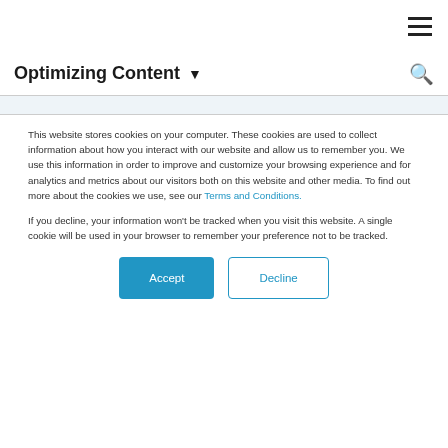≡
Optimizing Content ▾
This website stores cookies on your computer. These cookies are used to collect information about how you interact with our website and allow us to remember you. We use this information in order to improve and customize your browsing experience and for analytics and metrics about our visitors both on this website and other media. To find out more about the cookies we use, see our Terms and Conditions.
If you decline, your information won't be tracked when you visit this website. A single cookie will be used in your browser to remember your preference not to be tracked.
Accept | Decline